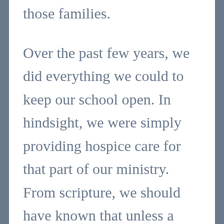those families.
Over the past few years, we did everything we could to keep our school open. In hindsight, we were simply providing hospice care for that part of our ministry. From scripture, we should have known that unless a seed is planted in the ground, it remains just that. But when it is buried, it grows into something new
and somewhere the situation of